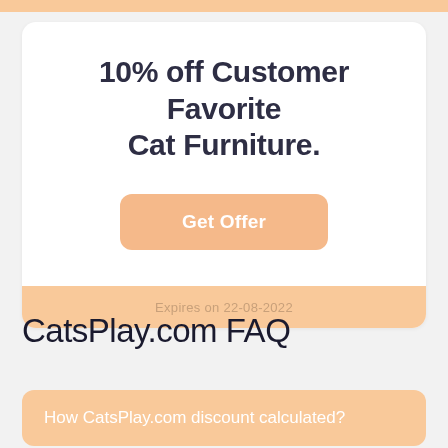10% off Customer Favorite Cat Furniture.
Get Offer
Expires on 22-08-2022
CatsPlay.com FAQ
How CatsPlay.com discount calculated?